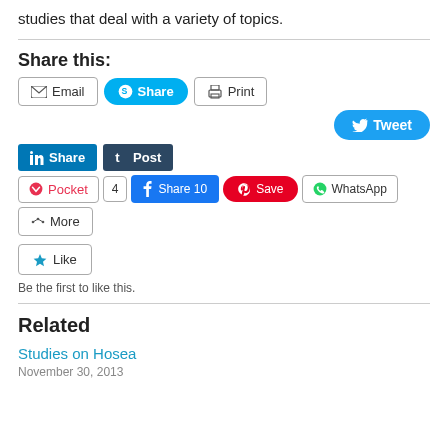studies that deal with a variety of topics.
Share this:
Email | Share | Print | Tweet | Share | Post | Pocket | 4 | Share 10 | Save | WhatsApp | More
Like
Be the first to like this.
Related
Studies on Hosea
November 30, 2013